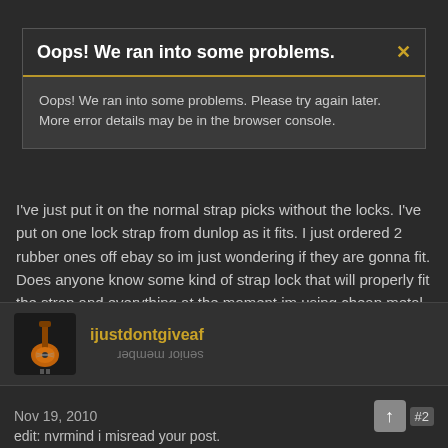Oops! We ran into some problems.
Oops! We ran into some problems. Please try again later. More error details may be in the browser console.
I've just put it on the normal strap picks without the locks. I've put on one lock strap from dunlop as it fits. I just ordered 2 rubber ones off ebay so im just wondering if they are gonna fit. Does anyone know some kind of strap lock that will properly fit the strap and everything at the moment im using cheap metal ones that are copys of schallers.
thanks in advance
ijustdontgiveaf
senior member
Nov 19, 2010
#2
edit: nvrmind i misread your post.